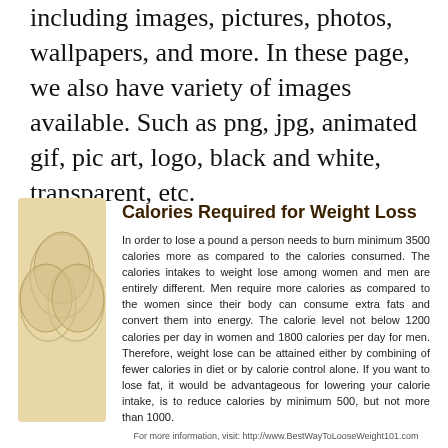including images, pictures, photos, wallpapers, and more. In these page, we also have variety of images available. Such as png, jpg, animated gif, pic art, logo, black and white, transparent, etc.
[Figure (illustration): Decorative tan/beige vertical panel with overlapping circular leaf/petal shapes in a slightly darker tan, forming a decorative logo-like design]
Calories Required for Weight Loss
In order to lose a pound a person needs to burn minimum 3500 calories more as compared to the calories consumed. The calories intakes to weight lose among women and men are entirely different. Men require more calories as compared to the women since their body can consume extra fats and convert them into energy. The calorie level not below 1200 calories per day in women and 1800 calories per day for men. Therefore, weight lose can be attained either by combining of fewer calories in diet or by calorie control alone. If you want to lose fat, it would be advantageous for lowering your calorie intake, is to reduce calories by minimum 500, but not more than 1000.
For more information, visit: http://www.BestWayToLooseWeight101.com